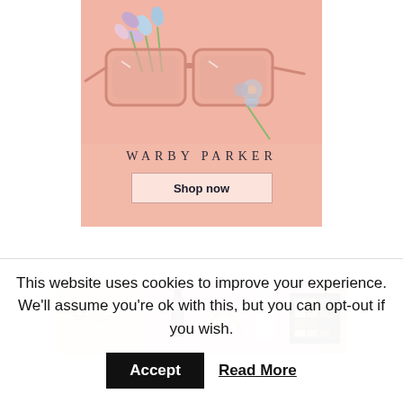[Figure (illustration): Warby Parker advertisement with pink sunglasses and flowers on a salmon/pink background, showing brand name and Shop now button]
[Figure (photo): FabFitFun advertisement banner showing beauty and lifestyle products including nail polish, jewelry, skincare and eyeshadow palette on a pink background]
This website uses cookies to improve your experience. We'll assume you're ok with this, but you can opt-out if you wish.
Accept
Read More